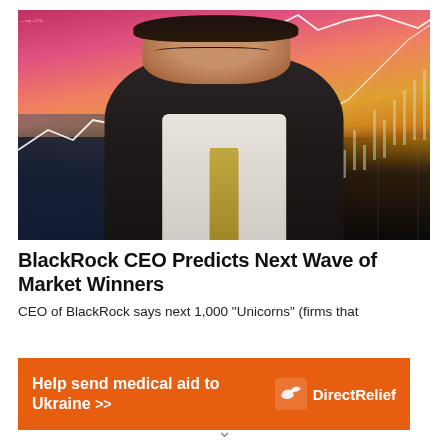[Figure (photo): A man in a dark vest and white shirt with glasses, looking down with a concerned expression, set against a financial stock market chart background with a city skyline and colorful overlay of trading charts and data lines]
BlackRock CEO Predicts Next Wave of Market Winners
CEO of BlackRock says next 1,000 "Unicorns" (firms that
[Figure (illustration): Orange advertisement banner: 'Help send medical aid to Ukraine >>' with Direct Relief logo and name on the right]